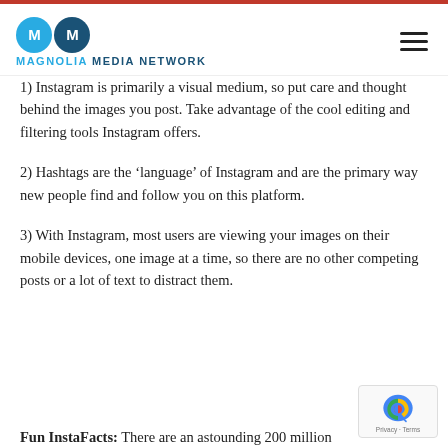[Figure (logo): Magnolia Media Network logo with two overlapping circles (M and M), one light blue and one dark blue, with text MAGNOLIA MEDIA NETWORK below in dark blue and blue.]
1) Instagram is primarily a visual medium, so put care and thought behind the images you post. Take advantage of the cool editing and filtering tools Instagram offers.
2) Hashtags are the ‘language’ of Instagram and are the primary way new people find and follow you on this platform.
3) With Instagram, most users are viewing your images on their mobile devices, one image at a time, so there are no other competing posts or a lot of text to distract them.
Fun InstaFacts: There are an astounding 200 million